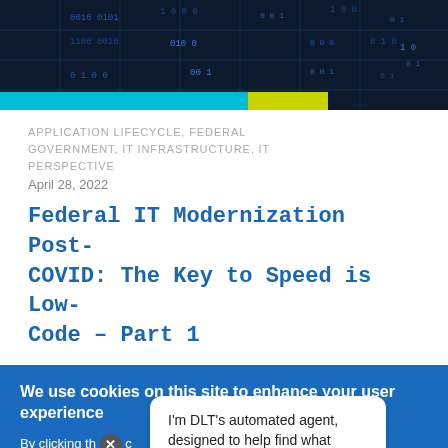[Figure (screenshot): Dark blue header image with binary/code grid pattern overlay, cyan bar and yellow-green bar at bottom left]
APPLICATION LIFECYCLE, FEDERAL GOVERNMENT, IT INFRASTRUCTURE, IT PERSPECTIVE
April 28, 2022
Federal IT Modernization Post-COVID: The Key to Speed is Low-Code – Part 1
We use cookies on this site to enhance your user experience
By clicking the [X] c... Privacy Policy
I'm DLT's automated agent, designed to help find what you're looking for. Anything I can help with?
Accept   No